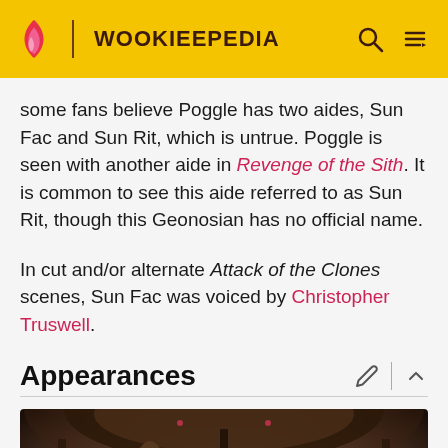WOOKIEEPEDIA
some fans believe Poggle has two aides, Sun Fac and Sun Rit, which is untrue. Poggle is seen with another aide in Revenge of the Sith. It is common to see this aide referred to as Sun Rit, though this Geonosian has no official name.
In cut and/or alternate Attack of the Clones scenes, Sun Fac was voiced by Christopher Truswell.
Appearances
[Figure (photo): A dark scene showing a Geonosian figure in what appears to be an arena or circular structure, with dramatic interior lighting visible in the curved architecture above.]